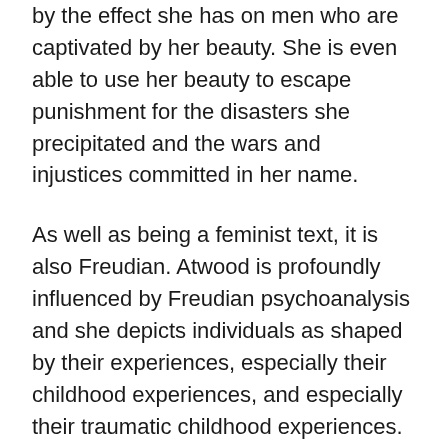by the effect she has on men who are captivated by her beauty. She is even able to use her beauty to escape punishment for the disasters she precipitated and the wars and injustices committed in her name.
As well as being a feminist text, it is also Freudian. Atwood is profoundly influenced by Freudian psychoanalysis and she depicts individuals as shaped by their experiences, especially their childhood experiences, and especially their traumatic childhood experiences.  In this text she applies these analytical principles to her treatment of Penelope and she presented her as partly the product of her traumatic childhood where she was neglected by her mother and violently abused by her father who sought to kill her due to his fears regarding a (false) prophesy. Penelope ended up uncertain about relationships and